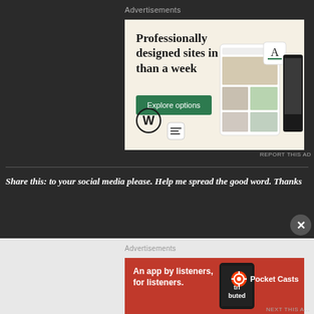Advertisements
[Figure (illustration): WordPress advertisement: 'Professionally designed sites in less than a week' with green 'Explore options' button, WordPress W logo, and screenshots of website designs on cream background]
REPORT THIS AD
Share this: to your social media please. Help me spread the good word. Thanks
Advertisements
[Figure (illustration): Pocket Casts advertisement: 'An app by listeners, for listeners.' on red background with phone showing 'Distributed' text and Pocket Casts logo]